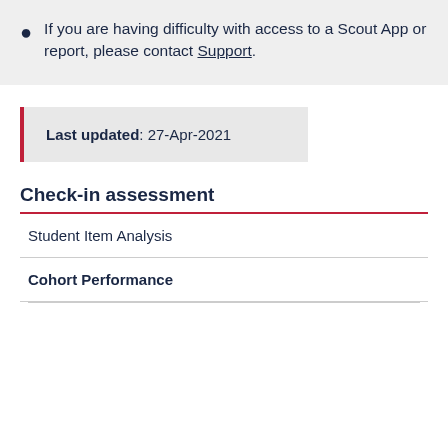If you are having difficulty with access to a Scout App or report, please contact Support.
Last updated: 27-Apr-2021
Check-in assessment
Student Item Analysis
Cohort Performance